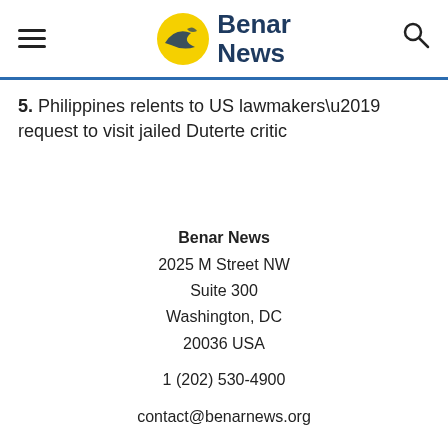Benar News
5. Philippines relents to US lawmakers’ request to visit jailed Duterte critic
Benar News
2025 M Street NW
Suite 300
Washington, DC
20036 USA

1 (202) 530-4900

contact@benarnews.org